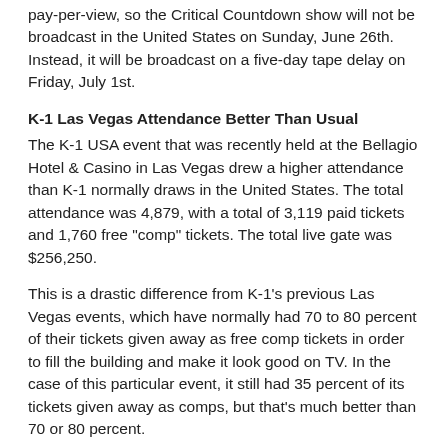pay-per-view, so the Critical Countdown show will not be broadcast in the United States on Sunday, June 26th. Instead, it will be broadcast on a five-day tape delay on Friday, July 1st.
K-1 Las Vegas Attendance Better Than Usual
The K-1 USA event that was recently held at the Bellagio Hotel & Casino in Las Vegas drew a higher attendance than K-1 normally draws in the United States. The total attendance was 4,879, with a total of 3,119 paid tickets and 1,760 free "comp" tickets. The total live gate was $256,250.
This is a drastic difference from K-1's previous Las Vegas events, which have normally had 70 to 80 percent of their tickets given away as free comp tickets in order to fill the building and make it look good on TV. In the case of this particular event, it still had 35 percent of its tickets given away as comps, but that's much better than 70 or 80 percent.
For the purposes of comparison, UFC 52 in Las Vegas had 12,643 paid tickets and 1,631 comp tickets, for a total